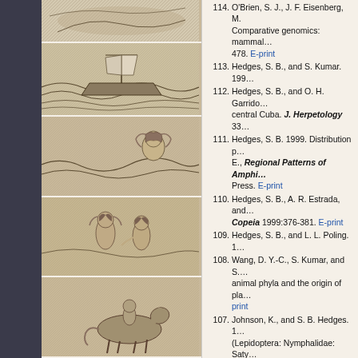[Figure (illustration): Black and white engraving illustration 1 - historical scene]
[Figure (illustration): Black and white engraving of ships at sea in storm]
[Figure (illustration): Black and white engraving of a woman figure with waves]
[Figure (illustration): Black and white engraving of two women figures]
[Figure (illustration): Black and white engraving of figures with horse]
114. O'Brien, S. J., J. F. Eisenberg, M. ... Comparative genomics: mammal... 478. E-print
113. Hedges, S. B., and S. Kumar. 199...
112. Hedges, S. B., and O. H. Garrido... central Cuba. J. Herpetology 33...
111. Hedges, S. B. 1999. Distribution p... E., Regional Patterns of Amphi... Press. E-print
110. Hedges, S. B., A. R. Estrada, and... Copeia 1999:376-381. E-print
109. Hedges, S. B., and L. L. Poling. 1...
108. Wang, D. Y.-C., S. Kumar, and S.... animal phyla and the origin of pla... print
107. Johnson, K., and S. B. Hedges. 1... (Lepidoptera: Nymphalidae: Saty...
106. Hedges, S. B., and R. Powell. 19... print
105. Estrada, A. R., and S. B. Hedges... Eleutherodactylus). Carib. J. Sci...
104. Hedges, S. Blair. 1998. Nature De... 1998. (Invited Essay). E-print
103. Thomas, R. and S. B. Hedges. 19... Herpetologica 54:333-336. E-pri...
102. Stanhope, M. J., V. G. Waddell, G... Springer. 1998. Molecular eviden... African insectivore mammals. Pr...
101. Feller, A. E. and S. B. Hedges. 19... Phylogenet. Evol. 9:509-516. E-...
100. Schubart, C., R. Diesel, and S. B... Nature 393:363-365. E-print
99. Kumar, S., and S. B. Hedges. 199... E-print
98. van Tuinen, M., C. G. Sibley, and... inferred from DNA sequences of t...
97. Thomas, R. and S. B. Hedges. 19...
96. Thomas, R., S. B. Hedges, and...